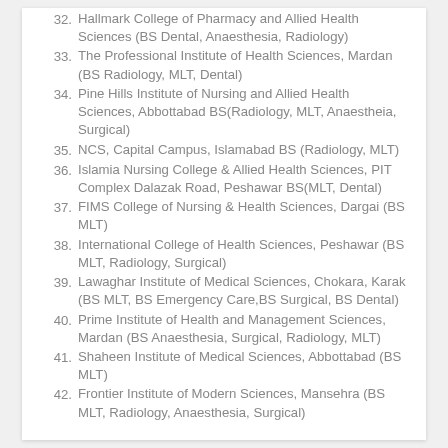32. Hallmark College of Pharmacy and Allied Health Sciences (BS Dental, Anaesthesia, Radiology)
33. The Professional Institute of Health Sciences, Mardan (BS Radiology, MLT, Dental)
34. Pine Hills Institute of Nursing and Allied Health Sciences, Abbottabad BS(Radiology, MLT, Anaestheia, Surgical)
35. NCS, Capital Campus, Islamabad BS (Radiology, MLT)
36. Islamia Nursing College & Allied Health Sciences, PIT Complex Dalazak Road, Peshawar BS(MLT, Dental)
37. FIMS College of Nursing & Health Sciences, Dargai (BS MLT)
38. International College of Health Sciences, Peshawar (BS MLT, Radiology, Surgical)
39. Lawaghar Institute of Medical Sciences, Chokara, Karak (BS MLT, BS Emergency Care,BS Surgical, BS Dental)
40. Prime Institute of Health and Management Sciences, Mardan (BS Anaesthesia, Surgical, Radiology, MLT)
41. Shaheen Institute of Medical Sciences, Abbottabad (BS MLT)
42. Frontier Institute of Modern Sciences, Mansehra (BS MLT, Radiology, Anaesthesia, Surgical)